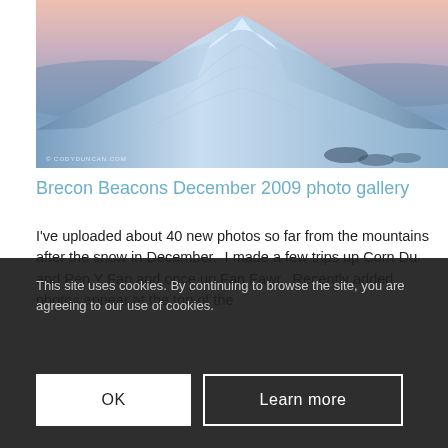[Figure (photo): Snow-covered mountain hill with blue twilight sky, steep ridgeline with snow, wide landscape. Watermark: © CODYDUNCAN.COM]
Brecon Beacons December 2009 photo gallery
I've uploaded about 40 new photos so far from the mountains after the snow in December.  I made a few trips up Corn Du and Pen Y Fan and once up Fan Fawr.  Recently added photos appear at the top of the gallery.  I plan to add many more over the next few weeks as I get around to processing them.  There's also a few old photos added – you can tell which ones they are as they've no snow!
This site uses cookies. By continuing to browse the site, you are agreeing to our use of cookies.
OK
Learn more